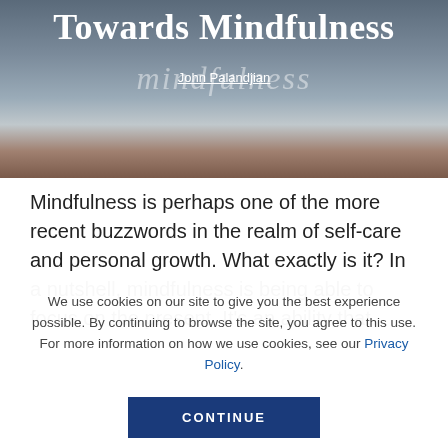[Figure (photo): Hero image of a window with mindfulness book/sign visible, muted blue-grey tones with brown shelf]
Towards Mindfulness
John Palandjian
Mindfulness is perhaps one of the more recent buzzwords in the realm of self-care and personal growth. What exactly is it? In a nutshell, mindfulness is being able to focus on the present. It's an ability that
We use cookies on our site to give you the best experience possible. By continuing to browse the site, you agree to this use. For more information on how we use cookies, see our Privacy Policy.
CONTINUE